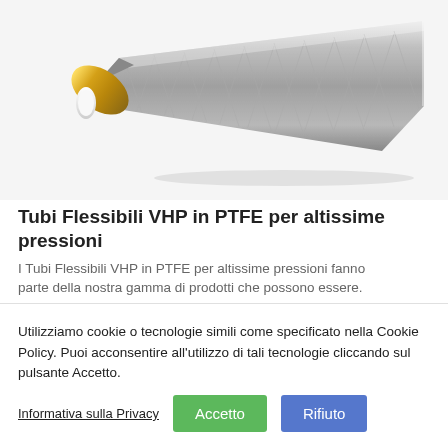[Figure (illustration): A flexible PTFE hose with metallic braided outer sheath (steel grey), a gold/yellow braided inner section, and a white PTFE inner tube visible at the cut end. The hose is shown diagonally from lower-left to upper-right.]
Tubi Flessibili VHP in PTFE per altissime pressioni
I Tubi Flessibili VHP in PTFE per altissime pressioni fanno parte della nostra gamma di prodotti che possono essere.
Utilizziamo cookie o tecnologie simili come specificato nella Cookie Policy. Puoi acconsentire all'utilizzo di tali tecnologie cliccando sul pulsante Accetto.
Informativa sulla Privacy | Accetto | Rifiuto